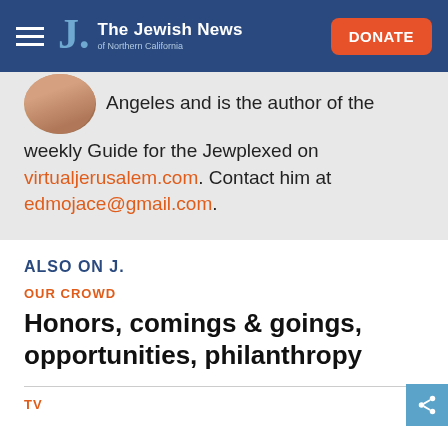The Jewish News of Northern California
Angeles and is the author of the weekly Guide for the Jewplexed on virtualjerusalem.com. Contact him at edmojace@gmail.com.
ALSO ON J.
OUR CROWD
Honors, comings & goings, opportunities, philanthropy
TV